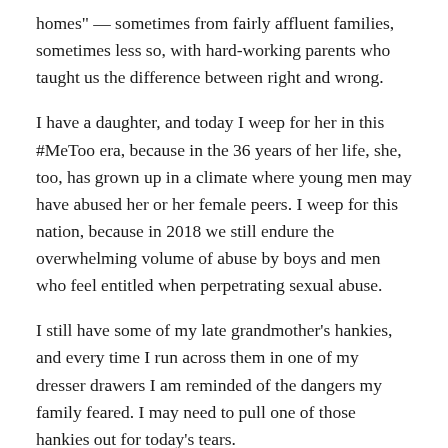homes" — sometimes from fairly affluent families, sometimes less so, with hard-working parents who taught us the difference between right and wrong.
I have a daughter, and today I weep for her in this #MeToo era, because in the 36 years of her life, she, too, has grown up in a climate where young men may have abused her or her female peers. I weep for this nation, because in 2018 we still endure the overwhelming volume of abuse by boys and men who feel entitled when perpetrating sexual abuse.
I still have some of my late grandmother's hankies, and every time I run across them in one of my dresser drawers I am reminded of the dangers my family feared. I may need to pull one of those hankies out for today's tears.
Christine Blasey Ford has done what many others refuse